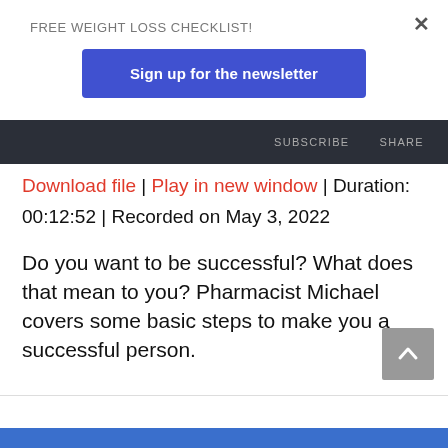FREE WEIGHT LOSS CHECKLIST!
Sign up for the newsletter
SUBSCRIBE   SHARE
Download file | Play in new window | Duration: 00:12:52 | Recorded on May 3, 2022
Do you want to be successful?  What does that mean to you?  Pharmacist Michael covers some basic steps to make you a successful person.